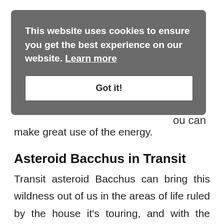some
ess the
ou can
make great use of the energy.
[Figure (screenshot): Cookie consent overlay with message: 'This website uses cookies to ensure you get the best experience on our website. Learn more' and a 'Got it!' button]
Asteroid Bacchus in Transit
Transit asteroid Bacchus can bring this wildness out of us in the areas of life ruled by the house it's touring, and with the aspects it makes to our natal charts. Again, the positive would be using this energy creatively, and